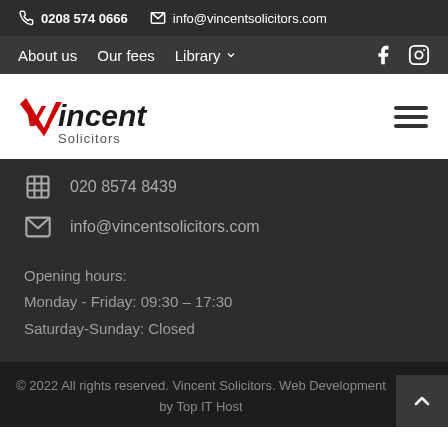0208 574 0666  info@vincentsolicitors.com
About us  Our fees  Library  (facebook) (instagram)
[Figure (logo): Vincent Solicitors logo with red checkmark/V shape and text 'Vincent Solicitors']
020 8574 8439
info@vincentsolicitors.com
Opening hours:
Monday - Friday: 09:30 – 17:30
Saturday-Sunday: Closed
© 2022 All rights reserved. Vincent Solicitors. Web Development by Top IT Host